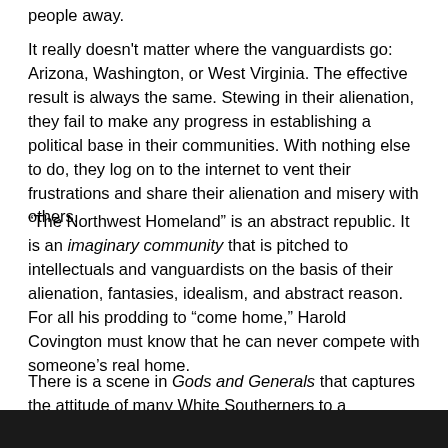people away.
It really doesn't matter where the vanguardists go: Arizona, Washington, or West Virginia. The effective result is always the same. Stewing in their alienation, they fail to make any progress in establishing a political base in their communities. With nothing else to do, they log on to the internet to vent their frustrations and share their alienation and misery with others.
“The Northwest Homeland” is an abstract republic. It is an imaginary community that is pitched to intellectuals and vanguardists on the basis of their alienation, fantasies, idealism, and abstract reason. For all his prodding to “come home,” Harold Covington must know that he can never compete with someone’s real home.
There is a scene in Gods and Generals that captures the attitude of many White Southerners to a Northwest Migration.
[Figure (other): Black bar at bottom of page]